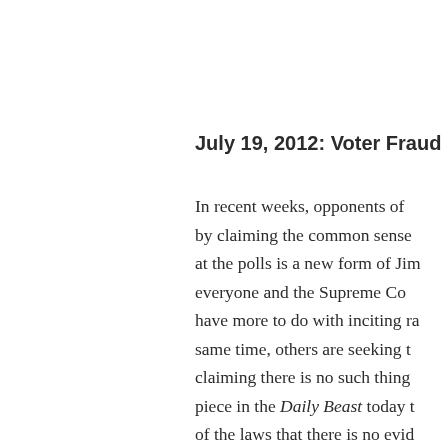July 19, 2012: Voter Fraud in W
In recent weeks, opponents of by claiming the common sense at the polls is a new form of Jim everyone and the Supreme Co have more to do with inciting ra same time, others are seeking t claiming there is no such thing piece in the Daily Beast today t of the laws that there is no evid